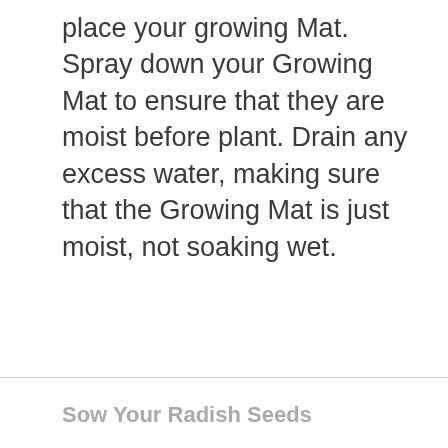place your growing Mat. Spray down your Growing Mat to ensure that they are moist before plant. Drain any excess water, making sure that the Growing Mat is just moist, not soaking wet.
Sow Your Radish Seeds